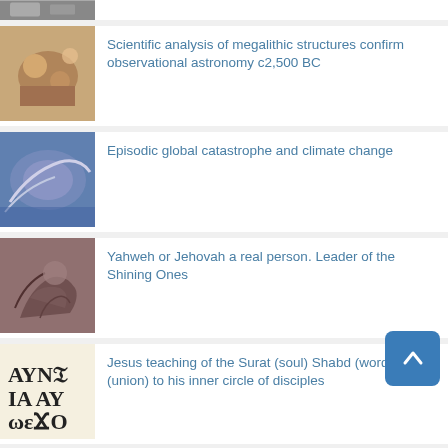Scientific analysis of megalithic structures confirm observational astronomy c2,500 BC
Episodic global catastrophe and climate change
Yahweh or Jehovah a real person. Leader of the Shining Ones
Jesus teaching of the Surat (soul) Shabd (word) Yoga (union) to his inner circle of disciples
Jesus as the husband of Mary Magdalene and the father of their three children
Jesus' attempt to restore the tradition of monarchy and good government, though the Grail Code.
Jesus as a perfect living master in the tradition of the ancient world, as one of the many sons of the One God